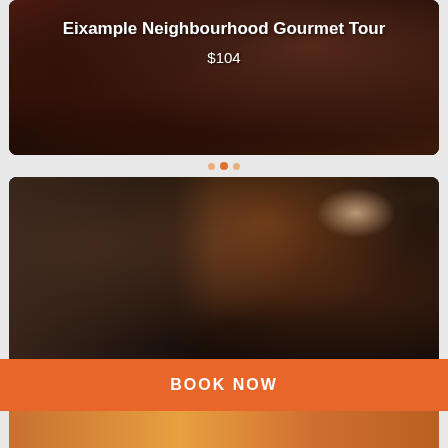[Figure (photo): Dark-toned photo of a gourmet market/shop interior with hanging meats and decorations, overlaid with white text title and price]
Eixample Neighbourhood Gourmet Tour
$104
[Figure (photo): Blurred photo of a man at a bar/tapas venue with orange lights and other people in background]
BOOK NOW